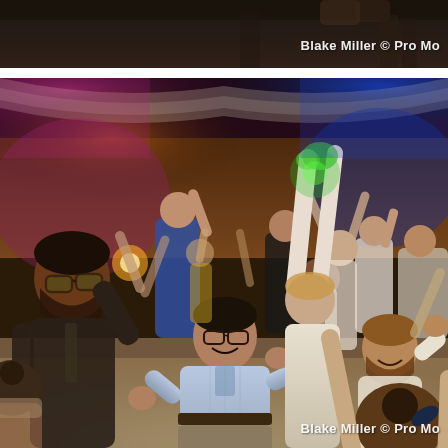[Figure (photo): Top strip of a dark photo showing feet/shoes at top and partial figures, cropped at bottom of frame. Dark indoor setting.]
[Figure (photo): Wedding reception dance floor photo by Blake Miller / Pro Mo. Crowd of guests dancing energetically in a ballroom with colorful uplighting (pink, blue, orange). Center foreground shows a man in a light blue shirt dancing with fists raised; a woman in white with arms raised overhead; a woman in navy dress with arms up on the right; a man with glasses and beard on the left. Background filled with more dancing guests. Ceiling has decorative drapery.]
Blake Miller © Pro Mo
Blake Miller © Pro Mo